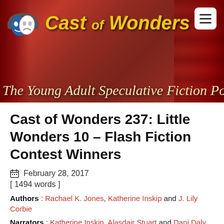[Figure (logo): Cast of Wonders podcast logo with theatrical masks wearing headphones and yellow stylized text reading 'Cast of Wonders' on a red curtain background]
The Young Adult Speculative Fiction Podc
Cast of Wonders 237: Little Wonders 10 – Flash Fiction Contest Winners
February 28, 2017
[ 1494 words ]
Authors : Rachael K. Jones, Katherine Inskip and J. Lily Corbie
Narrators : Katherine Inskip, Alasdair Stuart and Dani Daly
Host : Marguerite Kenner
Audio Producer : Jeremy Carter